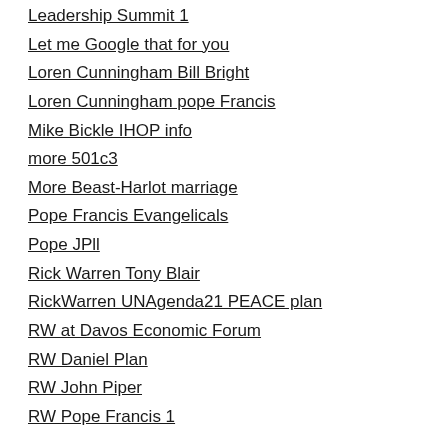Leadership Summit 1
Let me Google that for you
Loren Cunningham Bill Bright
Loren Cunningham pope Francis
Mike Bickle IHOP info
more 501c3
More Beast-Harlot marriage
Pope Francis Evangelicals
Pope JPll
Rick Warren Tony Blair
RickWarren UNAgenda21 PEACE plan
RW at Davos Economic Forum
RW Daniel Plan
RW John Piper
RW Pope Francis 1